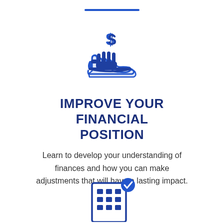[Figure (illustration): Blue horizontal decorative line bar at the top center of the page]
[Figure (illustration): Blue icon of a hand receiving a dollar sign (money/payment icon)]
IMPROVE YOUR FINANCIAL POSITION
Learn to develop your understanding of finances and how you can make adjustments that will have a lasting impact.
[Figure (illustration): Blue icon of a building/office with a blue checkmark badge in the top right corner]